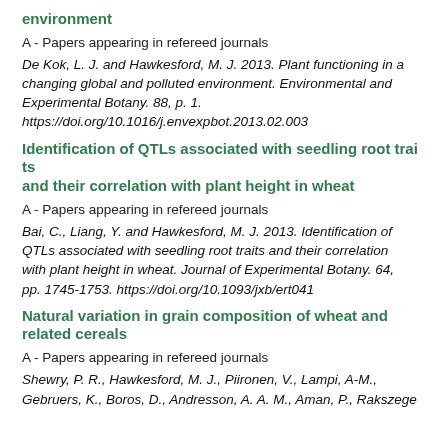environment
A - Papers appearing in refereed journals
De Kok, L. J. and Hawkesford, M. J. 2013. Plant functioning in a changing global and polluted environment. Environmental and Experimental Botany. 88, p. 1. https://doi.org/10.1016/j.envexpbot.2013.02.003
Identification of QTLs associated with seedling root traits and their correlation with plant height in wheat
A - Papers appearing in refereed journals
Bai, C., Liang, Y. and Hawkesford, M. J. 2013. Identification of QTLs associated with seedling root traits and their correlation with plant height in wheat. Journal of Experimental Botany. 64, pp. 1745-1753. https://doi.org/10.1093/jxb/ert041
Natural variation in grain composition of wheat and related cereals
A - Papers appearing in refereed journals
Shewry, P. R., Hawkesford, M. J., Piironen, V., Lampi, A-M., Gebruers, K., Boros, D., Andresson, A. A. M., Aman, P., Rakszegi, M., Bedo, Z. and Ward, J. L. 2013. Natural variation in...